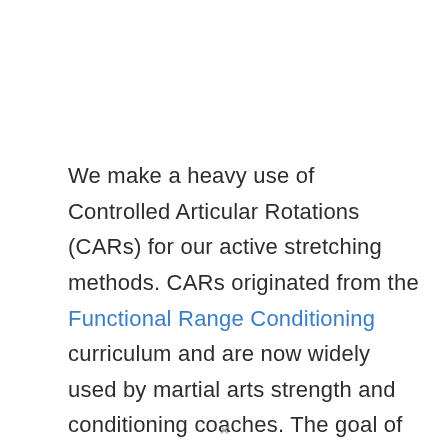We make a heavy use of Controlled Articular Rotations (CARs) for our active stretching methods. CARs originated from the Functional Range Conditioning curriculum and are now widely used by martial arts strength and conditioning coaches. The goal of a CAR is to isolate the targeted joint by creating tension throughout the rest of the body. When moving